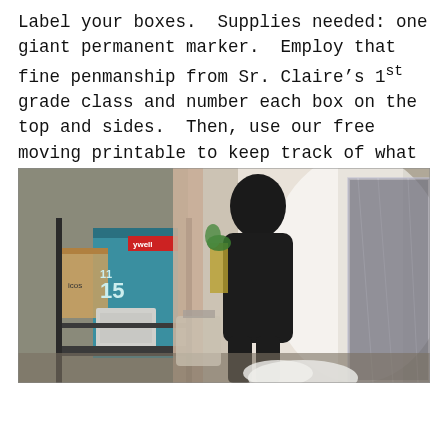Label your boxes.  Supplies needed: one giant permanent marker.  Employ that fine penmanship from Sr. Claire's 1st grade class and number each box on the top and sides.  Then, use our free moving printable to keep track of what each corresponding box contains.
[Figure (photo): A person standing backlit near a window in a room filled with moving boxes and packed items. Cardboard boxes with labels visible on the left, plastic-wrapped items on the right, and a bright white light from the window behind the silhouetted figure.]